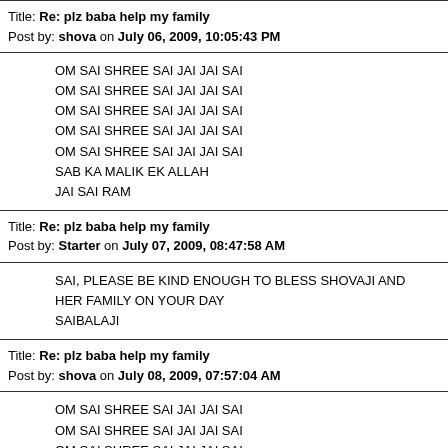Title: Re: plz baba help my family
Post by: shova on July 06, 2009, 10:05:43 PM
OM SAI SHREE SAI JAI JAI SAI
OM SAI SHREE SAI JAI JAI SAI
OM SAI SHREE SAI JAI JAI SAI
OM SAI SHREE SAI JAI JAI SAI
OM SAI SHREE SAI JAI JAI SAI
SAB KA MALIK EK ALLAH
JAI SAI RAM
Title: Re: plz baba help my family
Post by: Starter on July 07, 2009, 08:47:58 AM
SAI, PLEASE BE KIND ENOUGH TO BLESS SHOVAJI AND HER FAMILY ON YOUR DAY
SAIBALAJI
Title: Re: plz baba help my family
Post by: shova on July 08, 2009, 07:57:04 AM
OM SAI SHREE SAI JAI JAI SAI
OM SAI SHREE SAI JAI JAI SAI
OM SAI SHREE SAI JAI JAI SAI
OM SAI SHREE SAI JAI JAI SAI
OM SAI SHREE SAI JAI JAI SAI
JAI SAI RAM